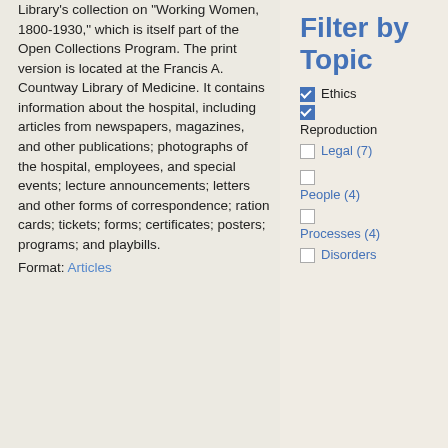Library's collection on "Working Women, 1800-1930," which is itself part of the Open Collections Program. The print version is located at the Francis A. Countway Library of Medicine. It contains information about the hospital, including articles from newspapers, magazines, and other publications; photographs of the hospital, employees, and special events; lecture announcements; letters and other forms of correspondence; ration cards; tickets; forms; certificates; posters; programs; and playbills.
Format: Articles
Filter by Topic
Ethics (checked)
Reproduction (checked)
Legal (7)
People (4)
Processes (4)
Disorders